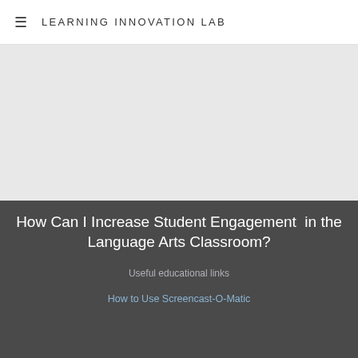≡  LEARNING INNOVATION LAB
[Figure (photo): Light gray hero image placeholder area]
How Can I Increase Student Engagement  in the Language Arts Classroom?
Useful educational links
How to Use Screencast-O-Matic